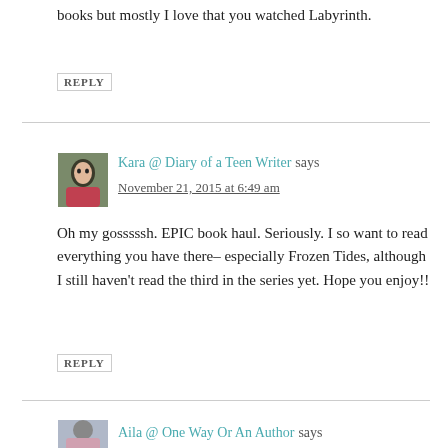books but mostly I love that you watched Labyrinth.
REPLY
Kara @ Diary of a Teen Writer says
November 21, 2015 at 6:49 am
Oh my gosssssh. EPIC book haul. Seriously. I so want to read everything you have there– especially Frozen Tides, although I still haven't read the third in the series yet. Hope you enjoy!!
REPLY
Aila @ One Way Or An Author says